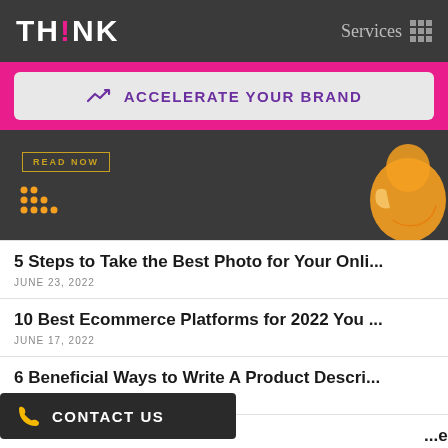TH!NK   Services
↗ ACCELERATE YOUR BRAND
[Figure (photo): Dark background hero image with READ NOW badge, orange dot pattern, and illustrated orange figure on the right]
5 Steps to Take the Best Photo for Your Onli...
JUNE 23, 2022
10 Best Ecommerce Platforms for 2022 You ...
JUNE 17, 2022
6 Beneficial Ways to Write A Product Descri...
JUNE 16, 2022
CONTACT US
...educe Shipping Cost
JUNE 16, 2022